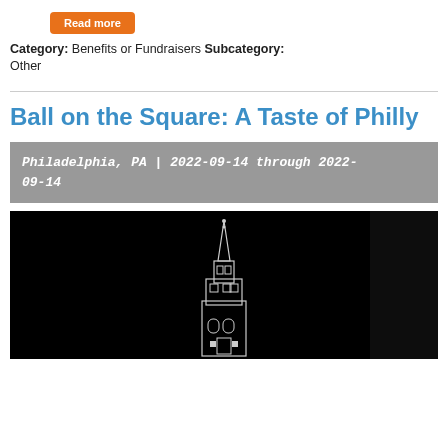Read more
Category: Benefits or Fundraisers Subcategory: Other
Ball on the Square: A Taste of Philly
Philadelphia, PA | 2022-09-14 through 2022-09-14
[Figure (photo): Dark nighttime photo of a lit building/tower structure (appears to be a church or historic building) against a black background]